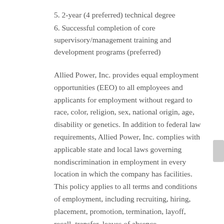5. 2-year (4 preferred) technical degree
6. Successful completion of core supervisory/management training and development programs (preferred)
Allied Power, Inc. provides equal employment opportunities (EEO) to all employees and applicants for employment without regard to race, color, religion, sex, national origin, age, disability or genetics. In addition to federal law requirements, Allied Power, Inc. complies with applicable state and local laws governing nondiscrimination in employment in every location in which the company has facilities. This policy applies to all terms and conditions of employment, including recruiting, hiring, placement, promotion, termination, layoff, recall, transfer, leaves of absence, compensation and training.